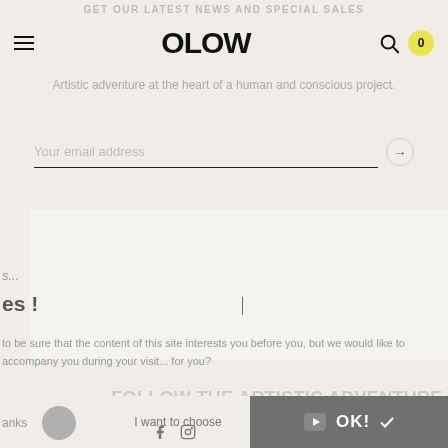GET OUR LATEST NEWS AND SPECIAL SALES
OLOW
Artistic adventure at the heart of a human and conscious project.
Your email address
s...
es !
to be sure that the content of this site interests you before you, but we would like to accompany you during your visit... for you?
your privacy, here's how.
FOLLOW THE ARTISTIC ADVENTURE OF A HUMAN AND CONSCIOUS PROJECT
Consents certified by ✔ axeptio
anks
I want to choose
OK!